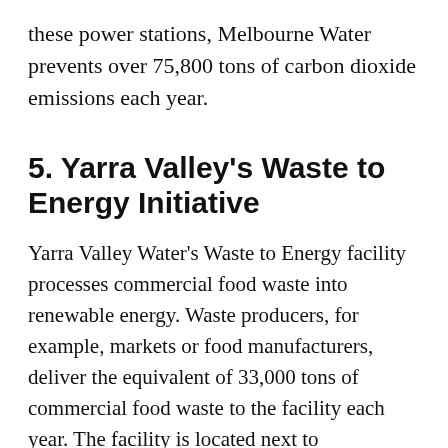these power stations, Melbourne Water prevents over 75,800 tons of carbon dioxide emissions each year.
5. Yarra Valley's Waste to Energy Initiative
Yarra Valley Water's Waste to Energy facility processes commercial food waste into renewable energy. Waste producers, for example, markets or food manufacturers, deliver the equivalent of 33,000 tons of commercial food waste to the facility each year. The facility is located next to